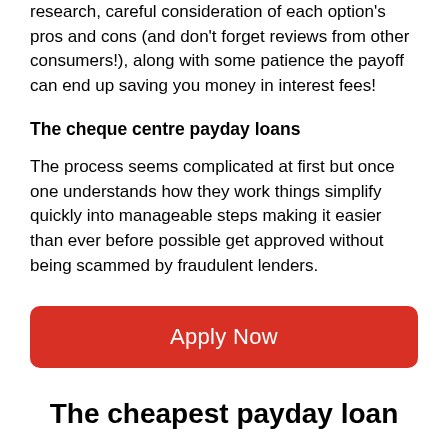research, careful consideration of each option's pros and cons (and don't forget reviews from other consumers!), along with some patience the payoff can end up saving you money in interest fees!
The cheque centre payday loans
The process seems complicated at first but once one understands how they work things simplify quickly into manageable steps making it easier than ever before possible get approved without being scammed by fraudulent lenders.
[Figure (other): Red 'Apply Now' button with rounded corners]
The cheapest payday loan